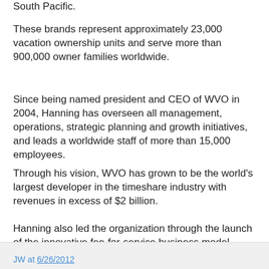South Pacific.
These brands represent approximately 23,000 vacation ownership units and serve more than 900,000 owner families worldwide.
Since being named president and CEO of WVO in 2004, Hanning has overseen all management, operations, strategic planning and growth initiatives, and leads a worldwide staff of more than 15,000 employees.
Through his vision, WVO has grown to be the world's largest developer in the timeshare industry with revenues in excess of $2 billion.
Hanning also led the organization through the launch of the innovative fee-for-service business model which has reduced the company's capital intensity, increased recurring management fees and improved investment returns, and transformed the vacation ownership industry in turn.
JW at 6/26/2012